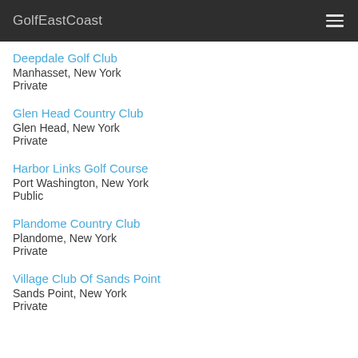GolfEastCoast
Deepdale Golf Club
Manhasset, New York
Private
Glen Head Country Club
Glen Head, New York
Private
Harbor Links Golf Course
Port Washington, New York
Public
Plandome Country Club
Plandome, New York
Private
Village Club Of Sands Point
Sands Point, New York
Private